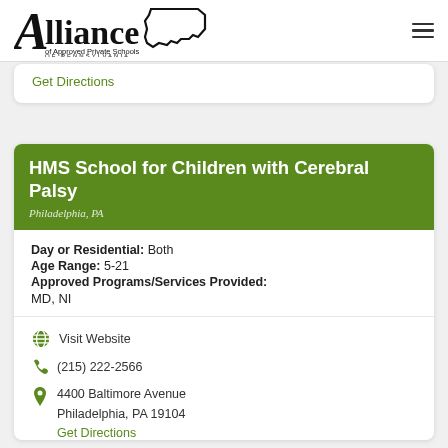[Figure (logo): Alliance of Approved Private Schools of Pennsylvania logo with Pennsylvania state outline]
Get Directions
HMS School for Children with Cerebral Palsy
Philadelphia, PA
Day or Residential: Both
Age Range: 5-21
Approved Programs/Services Provided:
MD, NI
Visit Website
(215) 222-2566
4400 Baltimore Avenue
Philadelphia, PA 19104
Get Directions